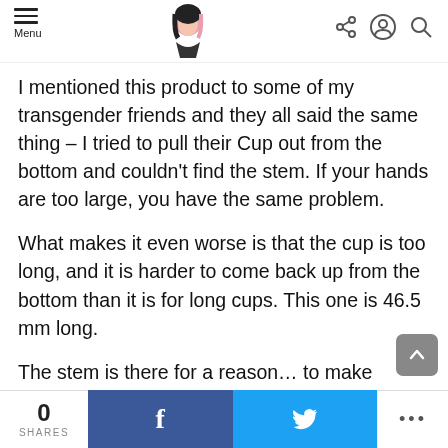Menu | [logo] | [share icon] [user icon] [search icon]
I mentioned this product to some of my transgender friends and they all said the same thing – I tried to pull their Cup out from the bottom and couldn't find the stem. If your hands are too large, you have the same problem.
What makes it even worse is that the cup is too long, and it is harder to come back up from the bottom than it is for long cups. This one is 46.5 mm long.
The stem is there for a reason… to make getting it out much easier if you can't find the stem, you will have a hard time getting it out. Try to locate the stem when
0 SHARES | f | [twitter bird] | ...